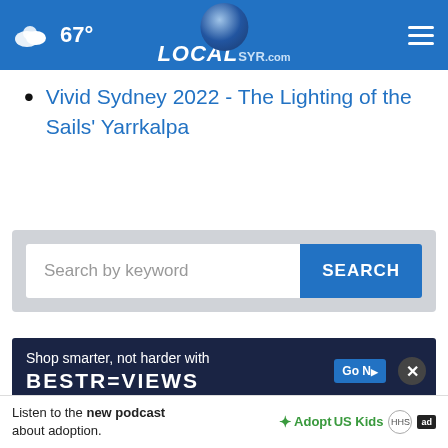67° LOCALsyr.com
Vivid Sydney 2022 - The Lighting of the Sails' Yarrkalpa
Search by keyword SEARCH
[Figure (screenshot): Advertisement banner: 'Shop smarter, not harder with BESTR=VIEWS' with a 'Go Now' button and close (X) button]
Listen to the new podcast about adoption. Adopt US Kids